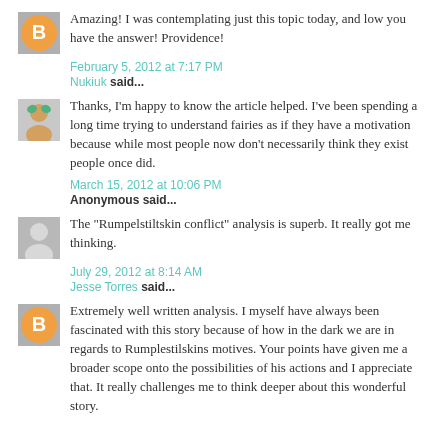Amazing! I was contemplating just this topic today, and low you have the answer! Providence!
February 5, 2012 at 7:17 PM
Nukiuk said...
Thanks, I'm happy to know the article helped. I've been spending a long time trying to understand fairies as if they have a motivation because while most people now don't necessarily think they exist people once did.
March 15, 2012 at 10:06 PM
Anonymous said...
The "Rumpelstiltskin conflict" analysis is superb. It really got me thinking.
July 29, 2012 at 8:14 AM
Jesse Torres said...
Extremely well written analysis. I myself have always been fascinated with this story because of how in the dark we are in regards to Rumplestilskins motives. Your points have given me a broader scope onto the possibilities of his actions and I appreciate that. It really challenges me to think deeper about this wonderful story.